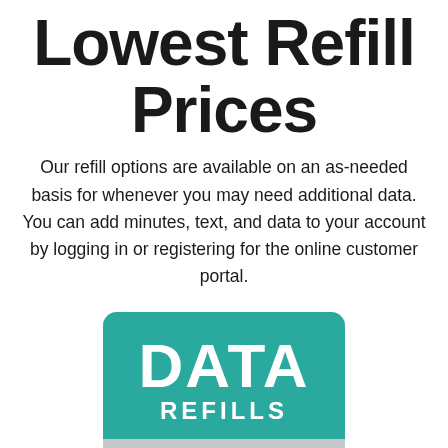Lowest Refill Prices
Our refill options are available on an as-needed basis for whenever you may need additional data. You can add minutes, text, and data to your account by logging in or registering for the online customer portal.
[Figure (infographic): A card-style graphic with a teal background showing 'DATA' in large bold white text and 'REFILLS' in smaller uppercase white text below, with a grey bottom section partially visible.]